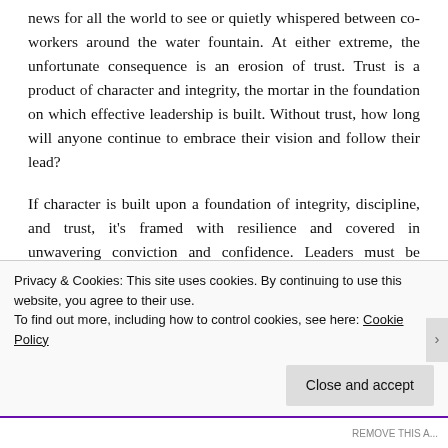news for all the world to see or quietly whispered between co-workers around the water fountain. At either extreme, the unfortunate consequence is an erosion of trust. Trust is a product of character and integrity, the mortar in the foundation on which effective leadership is built. Without trust, how long will anyone continue to embrace their vision and follow their lead?
If character is built upon a foundation of integrity, discipline, and trust, it's framed with resilience and covered in unwavering conviction and confidence. Leaders must be strong and undaunted. However, voice of confidence should not be confused with voice of arrogance. Confidence is driven
Privacy & Cookies: This site uses cookies. By continuing to use this website, you agree to their use.
To find out more, including how to control cookies, see here: Cookie Policy